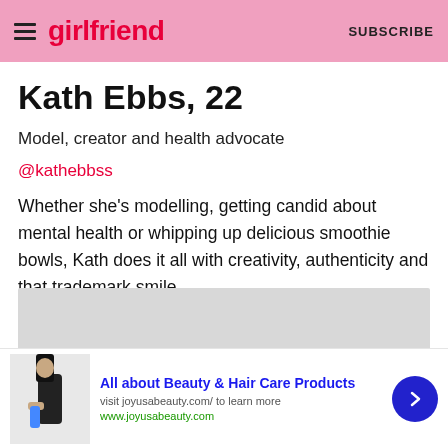girlfriend  SUBSCRIBE
Kath Ebbs, 22
Model, creator and health advocate
@kathebbss
Whether she's modelling, getting candid about mental health or whipping up delicious smoothie bowls, Kath does it all with creativity, authenticity and that trademark smile.
[Figure (photo): Gray placeholder image block]
[Figure (screenshot): Advertisement bar: All about Beauty & Hair Care Products, visit joyusabeauty.com/ to learn more, www.joyusabeauty.com, with a small product image on the left and a blue arrow button on the right]